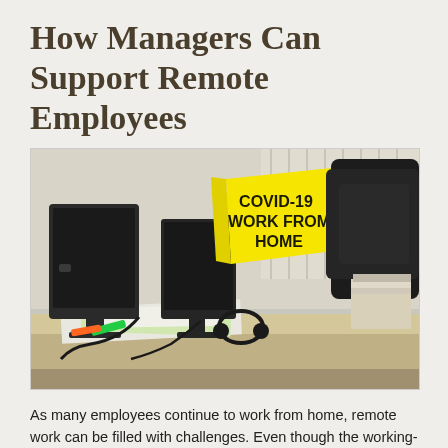How Managers Can Support Remote Employees
[Figure (photo): Office desk with a computer monitor showing a yellow sign reading 'COVID-19 WORK FROM HOME', along with headphones, papers and documents scattered on the desk, and a black office chair in the background.]
As many employees continue to work from home, remote work can be filled with challenges. Even though the working-from-